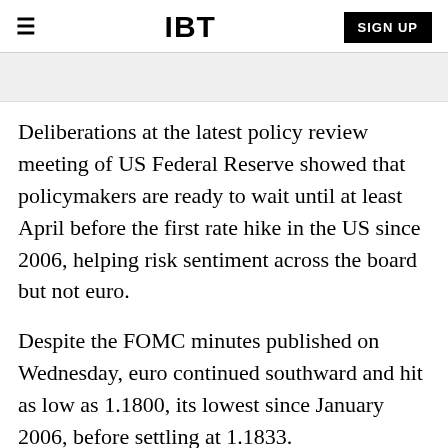IBT | SIGN UP
Deliberations at the latest policy review meeting of US Federal Reserve showed that policymakers are ready to wait until at least April before the first rate hike in the US since 2006, helping risk sentiment across the board but not euro.
Despite the FOMC minutes published on Wednesday, euro continued southward and hit as low as 1.1800, its lowest since January 2006, before settling at 1.1833.